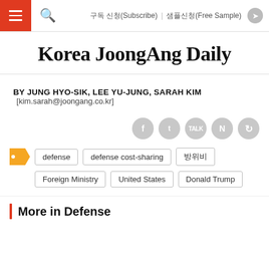구독 신청(Subscribe)   샘플신청(Free Sample)
Korea JoongAng Daily
BY JUNG HYO-SIK, LEE YU-JUNG, SARAH KIM [kim.sarah@joongang.co.kr]
defense
defense cost-sharing
방위비
Foreign Ministry
United States
Donald Trump
More in Defense